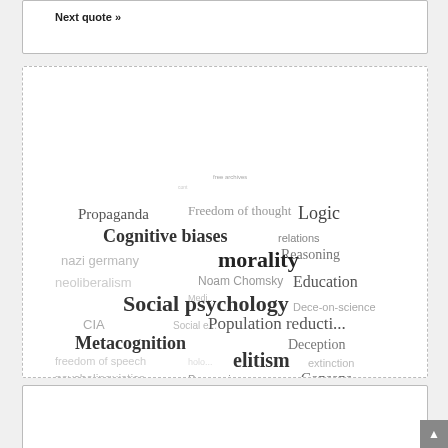Next quote »
[Figure (infographic): Word cloud containing topics related to critical thinking, propaganda, and social psychology. Words include: free archives, Propaganda, Freedom of thought, Logic, Cognitive biases, relations, Reasoning, nazi germany, morality, Noam Chomsky, neoliberalism, Education, Media, Social psychology, Dece-on-science, CIA, Social e, Population reduction, Metacognition, Deception, freedom of speech, holo, extinction, elitism, psycholinguistics, Persuasion, Consens, Argumentation, rhetoric]